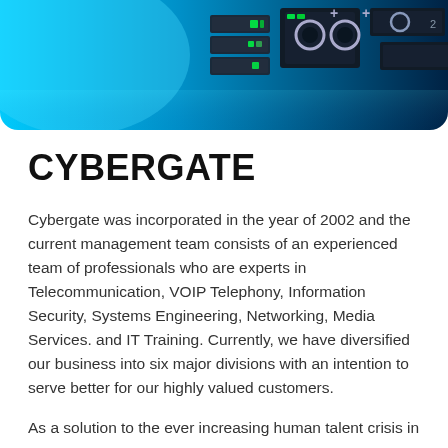[Figure (photo): Header photo of server rack equipment with blue lighting and green LED indicators]
CYBERGATE
Cybergate was incorporated in the year of 2002 and the current management team consists of an experienced team of professionals who are experts in Telecommunication, VOIP Telephony, Information Security, Systems Engineering, Networking, Media Services. and IT Training. Currently, we have diversified our business into six major divisions with an intention to serve better for our highly valued customers.
As a solution to the ever increasing human talent crisis in